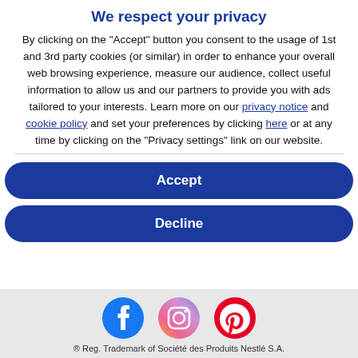We respect your privacy
By clicking on the "Accept" button you consent to the usage of 1st and 3rd party cookies (or similar) in order to enhance your overall web browsing experience, measure our audience, collect useful information to allow us and our partners to provide you with ads tailored to your interests. Learn more on our privacy notice and cookie policy and set your preferences by clicking here or at any time by clicking on the "Privacy settings" link on our website.
[Figure (other): Accept button (dark blue rounded rectangle)]
[Figure (other): Decline button (dark blue rounded rectangle)]
[Figure (other): Social media icons: Facebook, Instagram, Pinterest]
® Reg. Trademark of Société des Produits Nestlé S.A.